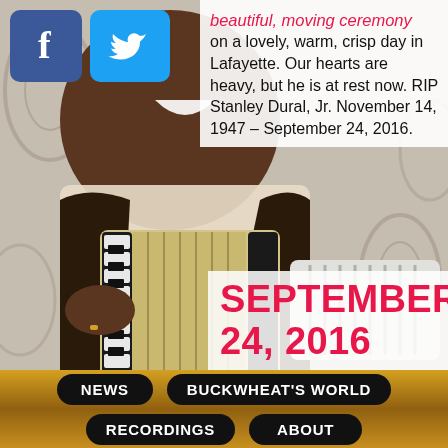[Figure (photo): Man playing accordion, smiling/laughing, with Facebook and Twitter social media icons overlaid in top left]
beautiful, moving ceremony on a lovely, warm, crisp day in Lafayette. Our hearts are heavy, but he is at rest now. RIP Stanley Dural, Jr. November 14, 1947 – September 24, 2016.
SEPTEMBER 24, 2016
NEWS
BUCKWHEAT'S WORLD
RECORDINGS
ABOUT